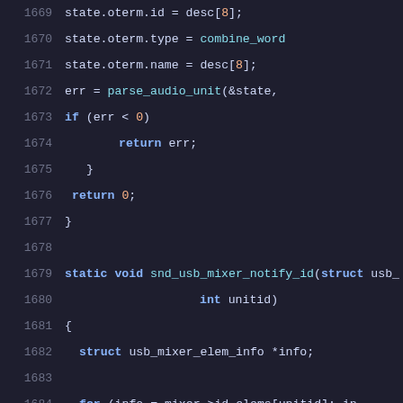[Figure (screenshot): Source code listing in a dark-themed code editor showing C code lines 1669-1690, including functions snd_usb_mixer_notify_id and snd_usb_mixer_memory_change with syntax highlighting in blue, cyan, and orange on dark background.]